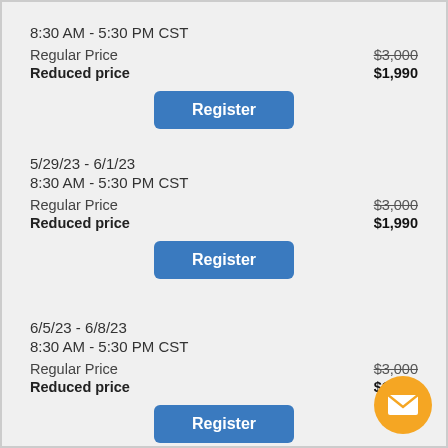8:30 AM - 5:30 PM CST
Regular Price   $3,000
Reduced price   $1,990
[Figure (other): Register button (blue)]
5/29/23 - 6/1/23
8:30 AM - 5:30 PM CST
Regular Price   $3,000
Reduced price   $1,990
[Figure (other): Register button (blue)]
6/5/23 - 6/8/23
8:30 AM - 5:30 PM CST
Regular Price   $3,000
Reduced price   $1,990
[Figure (other): Register button (blue) - partially visible]
[Figure (other): Orange email/contact bubble icon in bottom right corner]